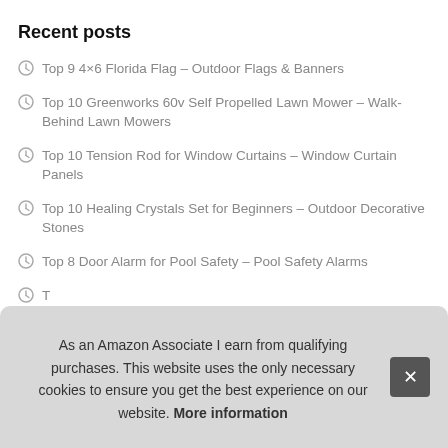Recent posts
Top 9 4×6 Florida Flag – Outdoor Flags & Banners
Top 10 Greenworks 60v Self Propelled Lawn Mower – Walk-Behind Lawn Mowers
Top 10 Tension Rod for Window Curtains – Window Curtain Panels
Top 10 Healing Crystals Set for Beginners – Outdoor Decorative Stones
Top 8 Door Alarm for Pool Safety – Pool Safety Alarms
T
T
T
As an Amazon Associate I earn from qualifying purchases. This website uses the only necessary cookies to ensure you get the best experience on our website. More information